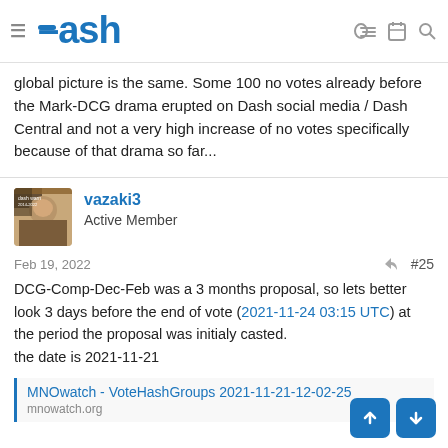Dash
global picture is the same. Some 100 no votes already before the Mark-DCG drama erupted on Dash social media / Dash Central and not a very high increase of no votes specifically because of that drama so far...
vazaki3
Active Member
Feb 19, 2022  #25
DCG-Comp-Dec-Feb was a 3 months proposal, so lets better look 3 days before the end of vote (2021-11-24 03:15 UTC) at the period the proposal was initialy casted.
the date is 2021-11-21
MNOwatch - VoteHashGroups 2021-11-21-12-02-25
mnowatch.org